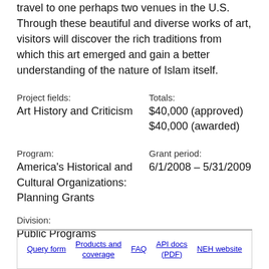travel to one perhaps two venues in the U.S. Through these beautiful and diverse works of art, visitors will discover the rich traditions from which this art emerged and gain a better understanding of the nature of Islam itself.
Project fields:
Art History and Criticism
Totals:
$40,000 (approved)
$40,000 (awarded)
Program:
America's Historical and Cultural Organizations: Planning Grants
Grant period:
6/1/2008 – 5/31/2009
Division:
Public Programs
Query form | Products and coverage | FAQ | API docs (PDF) | NEH website